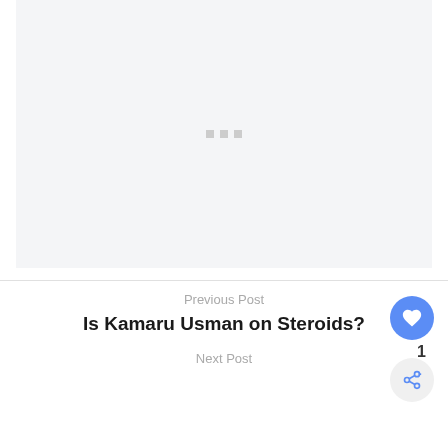[Figure (other): Loading placeholder with three small gray squares centered in a light gray rectangular area]
Previous Post
Is Kamaru Usman on Steroids?
Next Post